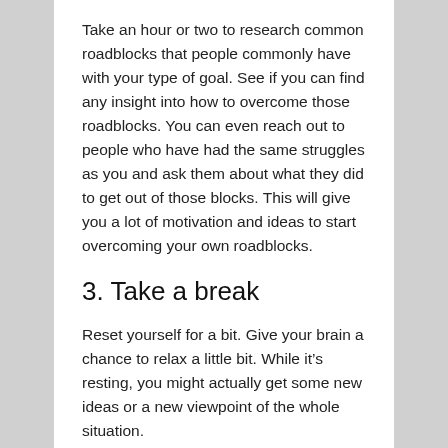Take an hour or two to research common roadblocks that people commonly have with your type of goal. See if you can find any insight into how to overcome those roadblocks. You can even reach out to people who have had the same struggles as you and ask them about what they did to get out of those blocks. This will give you a lot of motivation and ideas to start overcoming your own roadblocks.
3. Take a break
Reset yourself for a bit. Give your brain a chance to relax a little bit. While it's resting, you might actually get some new ideas or a new viewpoint of the whole situation.
4. Reprioritize